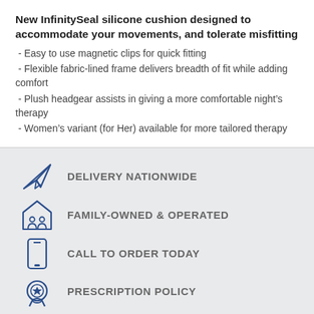New InfinitySeal silicone cushion designed to accommodate your movements, and tolerate misfitting
- Easy to use magnetic clips for quick fitting
- Flexible fabric-lined frame delivers breadth of fit while adding comfort
- Plush headgear assists in giving a more comfortable night's therapy
- Women's variant (for Her) available for more tailored therapy
[Figure (infographic): Four icons with labels: paper airplane for DELIVERY NATIONWIDE, house with people for FAMILY-OWNED & OPERATED, smartphone for CALL TO ORDER TODAY, medal/badge for PRESCRIPTION POLICY]
DELIVERY NATIONWIDE
FAMILY-OWNED & OPERATED
CALL TO ORDER TODAY
PRESCRIPTION POLICY